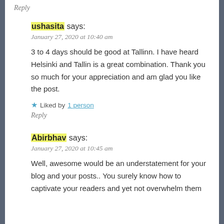Reply
ushasita says:
January 27, 2020 at 10:40 am
3 to 4 days should be good at Tallinn. I have heard Helsinki and Tallin is a great combination. Thank you so much for your appreciation and am glad you like the post.
Liked by 1 person
Reply
Abirbhav says:
January 27, 2020 at 10:45 am
Well, awesome would be an understatement for your blog and your posts.. You surely know how to captivate your readers and yet not overwhelm them